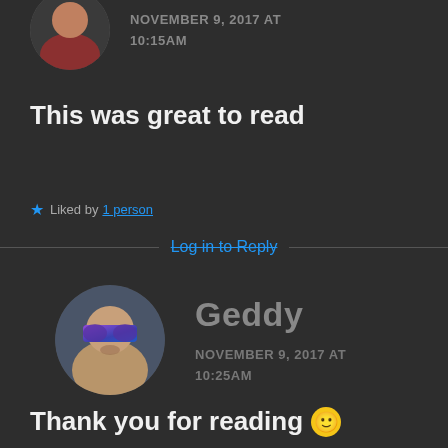[Figure (photo): Circular avatar photo of a woman in a red top, partially cropped at top of page]
NOVEMBER 9, 2017 AT 10:15AM
This was great to read
★ Liked by 1 person
Log in to Reply
[Figure (photo): Circular avatar photo of a man named Geddy wearing sunglasses]
Geddy
NOVEMBER 9, 2017 AT 10:25AM
Thank you for reading 🙂